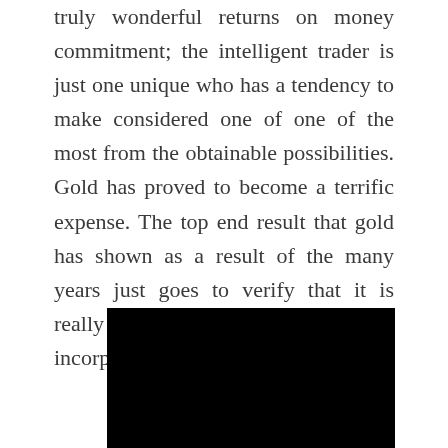truly wonderful returns on money commitment; the intelligent trader is just one unique who has a tendency to make considered one of one of the most from the obtainable possibilities. Gold has proved to become a terrific expense. The top end result that gold has shown as a result of the many years just goes to verify that it is really one that every trader have to incorporate in his/her portfolio.
[Figure (photo): A black rectangular image block, content not visible (dark/black fill).]